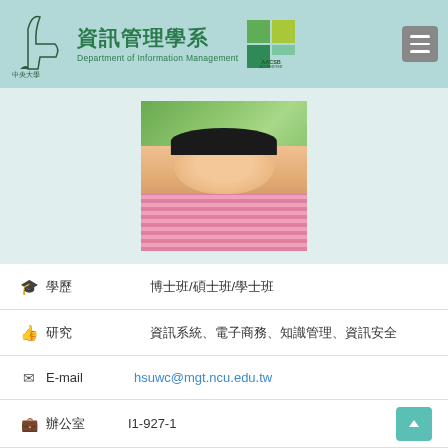資訊管理學系 Department of Information Management AACSB ACCREDITED
[Figure (photo): Profile photo of a man in a pink checkered shirt with glasses, with green foliage background]
學歷  博士班/碩士班/學士班
研究  資訊系統、電子商務、知識管理、資訊安全
E-mail  hsuwc@mgt.ncu.edu.tw
辦公室  I1-927-1
電話  66535